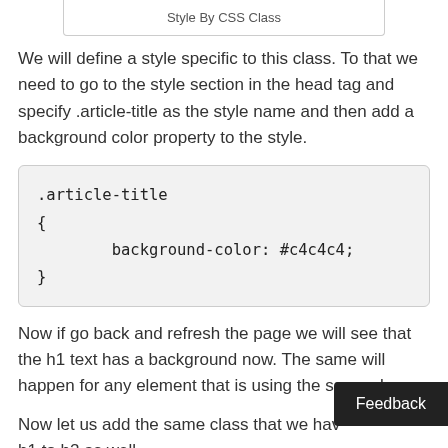Style By CSS Class
We will define a style specific to this class. To that we need to go to the style section in the head tag and specify .article-title as the style name and then add a background color property to the style.
.article-title
{
        background-color: #c4c4c4;
}
Now if go back and refresh the page we will see that the h1 text has a background now. The same will happen for any element that is using the same class.
Now let us add the same class that we hav h1 to h2 as well.